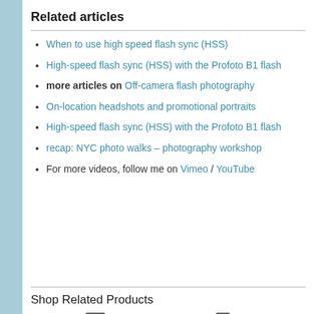Related articles
When to use high speed flash sync (HSS)
High-speed flash sync (HSS) with the Profoto B1 flash
more articles on Off-camera flash photography
On-location headshots and promotional portraits
High-speed flash sync (HSS) with the Profoto B1 flash
recap: NYC photo walks – photography workshop
For more videos, follow me on Vimeo / YouTube
Shop Related Products
[Figure (photo): Two camera/flash product images partially visible at bottom of page]